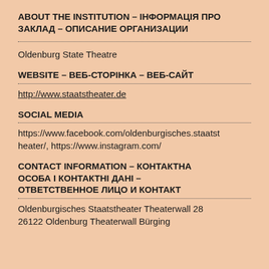ABOUT THE INSTITUTION – ІНФОРМАЦІЯ ПРО ЗАКЛАД – ОПИСАНИЕ ОРГАНИЗАЦИИ
Oldenburg State Theatre
WEBSITE – ВЕБ-СТОРІНКА – ВЕБ-САЙТ
http://www.staatstheater.de
SOCIAL MEDIA
https://www.facebook.com/oldenburgisches.staatstheater/, https://www.instagram.com/
CONTACT INFORMATION – КОНТАКТНА ОСОБА І КОНТАКТНІ ДАНІ – ОТВЕТСТВЕННОЕ ЛИЦО И КОНТАКТ
Oldenburgisches Staatstheater Theaterwall 28 26122 Oldenburg Theaterwall Bürging